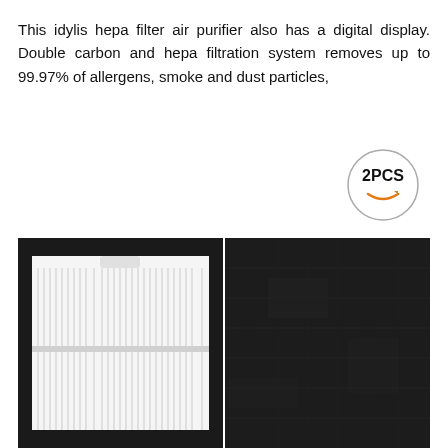This idylis hepa filter air purifier also has a digital display. Double carbon and hepa filtration system removes up to 99.97% of allergens, smoke and dust particles,
[Figure (logo): Circular badge with '2PCS' text and Amazon-style smile arrow underneath]
[Figure (photo): Two air purifier filters side by side: left is a white pleated HEPA filter with black frame, right is a black carbon filter panel]